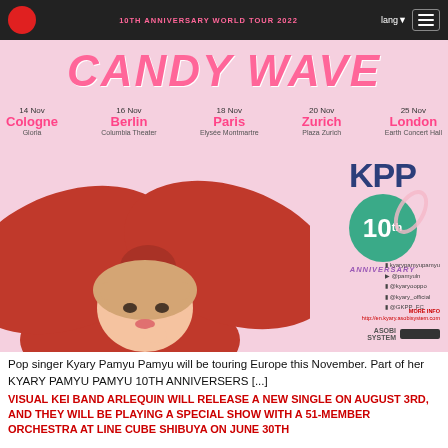10th ANNIVERSARY WORLD TOUR 2022 — lang
[Figure (photo): Concert promotional poster for Kyary Pamyu Pamyu CANDY WAVE 10th Anniversary World Tour. Shows artist wearing a large red bow hat/dress, with KPP 10th Anniversary logo, tour dates for Cologne (14 Nov, Gloria), Berlin (16 Nov, Columbia Theater), Paris (18 Nov, Elysée Montmartre), Zurich (20 Nov, Plaza Zurich), London (25 Nov, Earth Concert Hall). Social media handles: kyarypamyupamyu, @pamyuln, @kyaryooppo, @kyary_official, @GKPP_FC. Sponsors: Asobi System.]
Pop singer Kyary Pamyu Pamyu will be touring Europe this November. Part of her KYARY PAMYU PAMYU 10TH ANNIVERSERS [...]
VISUAL KEI BAND ARLEQUIN WILL RELEASE A NEW SINGLE ON AUGUST 3RD, AND THEY WILL BE PLAYING A SPECIAL SHOW WITH A 51-MEMBER ORCHESTRA AT LINE CUBE SHIBUYA ON JUNE 30TH